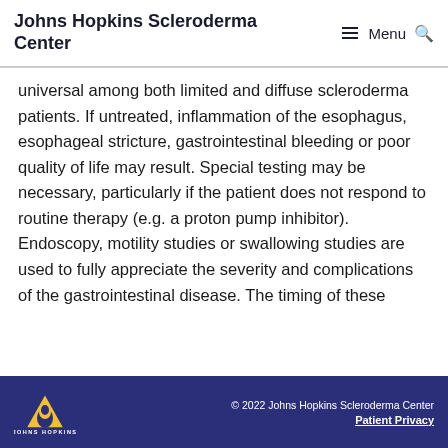Johns Hopkins Scleroderma Center
universal among both limited and diffuse scleroderma patients. If untreated, inflammation of the esophagus, esophageal stricture, gastrointestinal bleeding or poor quality of life may result. Special testing may be necessary, particularly if the patient does not respond to routine therapy (e.g. a proton pump inhibitor). Endoscopy, motility studies or swallowing studies are used to fully appreciate the severity and complications of the gastrointestinal disease. The timing of these
© 2022 Johns Hopkins Scleroderma Center Patient Privacy